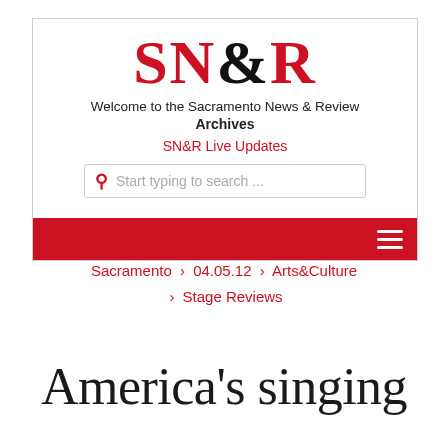[Figure (logo): SN&R Sacramento News & Review logo with header box containing welcome text, Archives heading, SN&R Live Updates link, search bar, and red navigation bar with hamburger menu]
Sacramento › 04.05.12 › Arts&Culture › Stage Reviews
America's singing